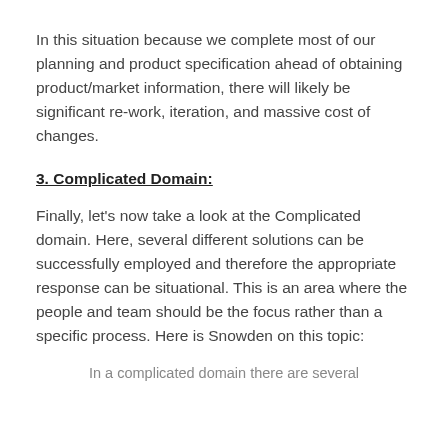In this situation because we complete most of our planning and product specification ahead of obtaining product/market information, there will likely be significant re-work, iteration, and massive cost of changes.
3. Complicated Domain:
Finally, let's now take a look at the Complicated domain. Here, several different solutions can be successfully employed and therefore the appropriate response can be situational. This is an area where the people and team should be the focus rather than a specific process. Here is Snowden on this topic:
In a complicated domain there are several